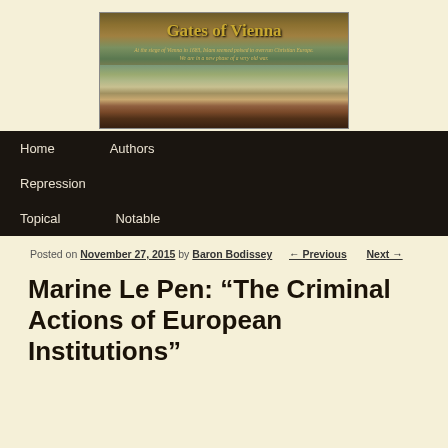[Figure (illustration): Gates of Vienna blog header banner showing historic painting of Vienna cityscape with the title 'Gates of Vienna' and subtitle 'At the siege of Vienna in 1683, Islam seemed poised to overrun Christian Europe. We are in a new phase of a very old war.']
Home    Authors    Repression    Topical    Notable
Posted on November 27, 2015 by Baron Bodissey    ← Previous    Next →
Marine Le Pen: “The Criminal Actions of European Institutions”